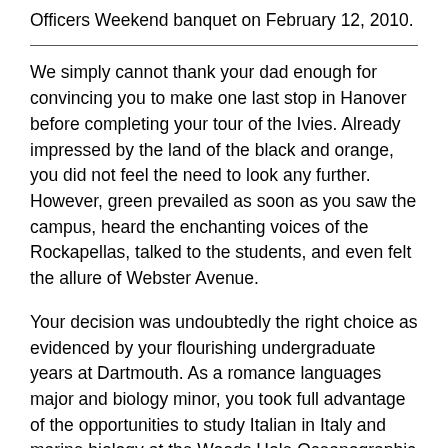Officers Weekend banquet on February 12, 2010.
We simply cannot thank your dad enough for convincing you to make one last stop in Hanover before completing your tour of the Ivies. Already impressed by the land of the black and orange, you did not feel the need to look any further. However, green prevailed as soon as you saw the campus, heard the enchanting voices of the Rockapellas, talked to the students, and even felt the allure of Webster Avenue.
Your decision was undoubtedly the right choice as evidenced by your flourishing undergraduate years at Dartmouth. As a romance languages major and biology minor, you took full advantage of the opportunities to study Italian in Italy and marine biology at the Woods Hole Oceanographic Institution. You made lifelong friends at Epsilon Kappa Theta, and of course with the Rockapellas. An integral part of your Dartmouth experience, you and the rest of the College's exceptional all-female a capella groupsang your way to second place at the International Championship of Collegiate A Cappella's New England Regional Finals, an elite competition that attracts hundreds of college a